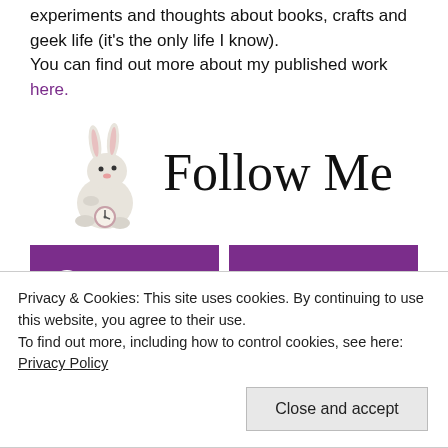experiments and thoughts about books, crafts and geek life (it's the only life I know).
You can find out more about my published work here.
[Figure (illustration): A white rabbit holding a pocket watch with cursive 'Follow Me' text beside it]
[Figure (infographic): Two purple buttons: WordPress and Bloglovin' social follow buttons]
Privacy & Cookies: This site uses cookies. By continuing to use this website, you agree to their use.
To find out more, including how to control cookies, see here: Privacy Policy